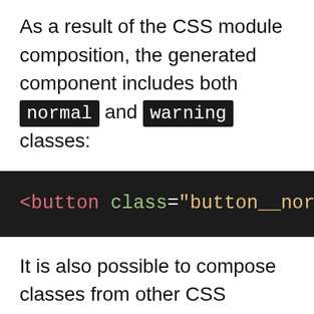As a result of the CSS module composition, the generated component includes both normal and warning classes:
[Figure (screenshot): Dark-themed code block showing HTML: <button class="button__normal but...]
It is also possible to compose classes from other CSS modules. This enables the possibility of writing a series of common